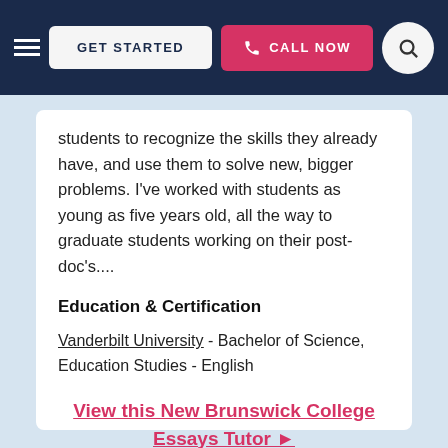GET STARTED | CALL NOW
students to recognize the skills they already have, and use them to solve new, bigger problems. I've worked with students as young as five years old, all the way to graduate students working on their post-doc's....
Education & Certification
Vanderbilt University - Bachelor of Science, Education Studies - English
View this New Brunswick College Essays Tutor ▶